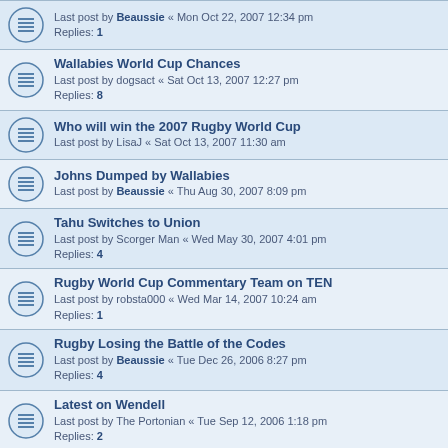Last post by Beaussie « Mon Oct 22, 2007 12:34 pm
Replies: 1
Wallabies World Cup Chances
Last post by dogsact « Sat Oct 13, 2007 12:27 pm
Replies: 8
Who will win the 2007 Rugby World Cup
Last post by LisaJ « Sat Oct 13, 2007 11:30 am
Johns Dumped by Wallabies
Last post by Beaussie « Thu Aug 30, 2007 8:09 pm
Tahu Switches to Union
Last post by Scorger Man « Wed May 30, 2007 4:01 pm
Replies: 4
Rugby World Cup Commentary Team on TEN
Last post by robsta000 « Wed Mar 14, 2007 10:24 am
Replies: 1
Rugby Losing the Battle of the Codes
Last post by Beaussie « Tue Dec 26, 2006 8:27 pm
Replies: 4
Latest on Wendell
Last post by The Portonian « Tue Sep 12, 2006 1:18 pm
Replies: 2
New National Rugby Competition
Last post by The Portonian « Tue Sep 12, 2006 12:19 pm
Replies: 7
Wendell to play AFL
Last post by Grim Reaper « Thu Sep 07, 2006 1:43 pm
Replies: 5